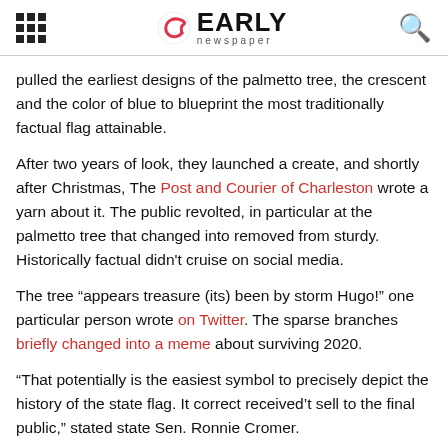EARLY newspaper
pulled the earliest designs of the palmetto tree, the crescent and the color of blue to blueprint the most traditionally factual flag attainable.
After two years of look, they launched a create, and shortly after Christmas, The Post and Courier of Charleston wrote a yarn about it. The public revolted, in particular at the palmetto tree that changed into removed from sturdy. Historically factual didn't cruise on social media.
The tree “appears treasure (its) been by storm Hugo!” one particular person wrote on Twitter. The sparse branches briefly changed into a meme about surviving 2020.
“That potentially is the easiest symbol to precisely depict the history of the state flag. It correct received’t sell to the final public,” stated state Sen. Ronnie Cromer.